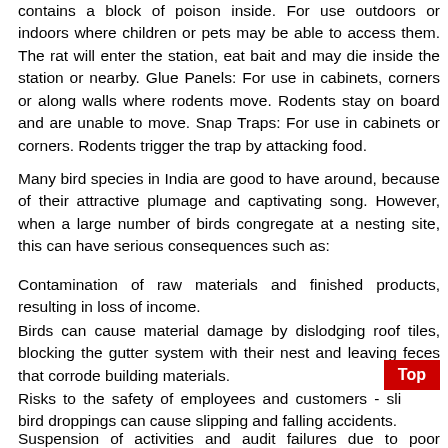contains a block of poison inside. For use outdoors or indoors where children or pets may be able to access them. The rat will enter the station, eat bait and may die inside the station or nearby. Glue Panels: For use in cabinets, corners or along walls where rodents move. Rodents stay on board and are unable to move. Snap Traps: For use in cabinets or corners. Rodents trigger the trap by attacking food.
Many bird species in India are good to have around, because of their attractive plumage and captivating song. However, when a large number of birds congregate at a nesting site, this can have serious consequences such as:
Contamination of raw materials and finished products, resulting in loss of income.
Birds can cause material damage by dislodging roof tiles, blocking the gutter system with their nest and leaving feces that corrode building materials.
Risks to the safety of employees and customers - slippery bird droppings can cause slipping and falling accidents.
Suspension of activities and audit failures due to poor hygiene